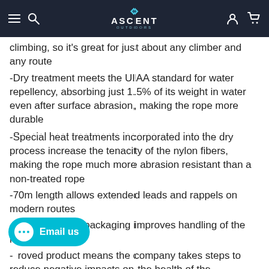Ascent Outdoors
climbing, so it's great for just about any climber and any route
-Dry treatment meets the UIAA standard for water repellency, absorbing just 1.5% of its weight in water even after surface abrasion, making the rope more durable
-Special heat treatments incorporated into the dry process increase the tenacity of the nylon fibers, making the rope much more abrasion resistant than a non-treated rope
-70m length allows extended leads and rappels on modern routes
-Ready-to-climb packaging improves handling of the rope
-[blueSign] approved product means the company takes steps to reduce negative impacts on the health of the environment, workers and